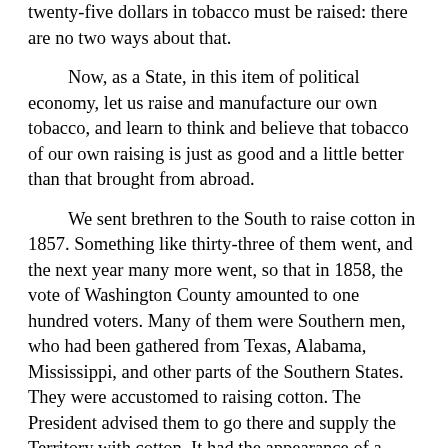twenty-five dollars in tobacco must be raised: there are no two ways about that.
Now, as a State, in this item of political economy, let us raise and manufacture our own tobacco, and learn to think and believe that tobacco of our own raising is just as good and a little better than that brought from abroad.
We sent brethren to the South to raise cotton in 1857. Something like thirty-three of them went, and the next year many more went, so that in 1858, the vote of Washington County amounted to one hundred voters. Many of them were Southern men, who had been gathered from Texas, Alabama, Mississippi, and other parts of the Southern States. They were accustomed to raising cotton. The President advised them to go there and supply the Territory with cotton. It had the appearance of a barren country generally. The mountains were barren and bleak in their appearance; red sandstone, and black volcanic rock, and a variety of grey-colored clay prevailing, altogether giving it a kind of somber, deadly appearance. The brethren went to raising cotton in small patches as they could find the land, and every year they cultivated it they found the cotton to improve in quality. They raised better cotton last year than the year before, and so they have continued until it has become a certainty that